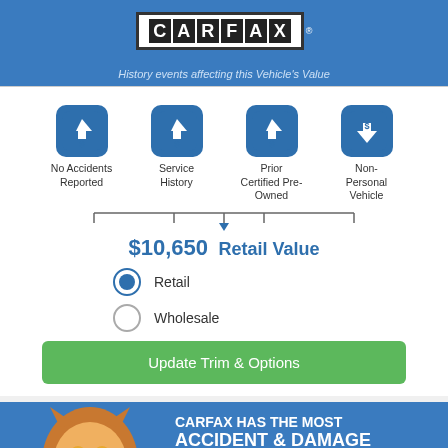[Figure (logo): CARFAX logo on blue header background]
History events affecting this Vehicle's Value
[Figure (infographic): Four blue icon boxes: up-arrow with dollar (No Accidents Reported), up-arrow with dollar (Service History), up-arrow with dollar (Prior Certified Pre-Owned), down-arrow with dollar (Non-Personal Vehicle), connected by a horizontal line with downward arrow pointing to price]
$10,650   Retail Value
Retail (selected radio button)
Wholesale
Update Trim & Options
[Figure (infographic): CARFAX mascot fox on blue banner with text: CARFAX HAS THE MOST ACCIDENT & DAMAGE INFORMATION]